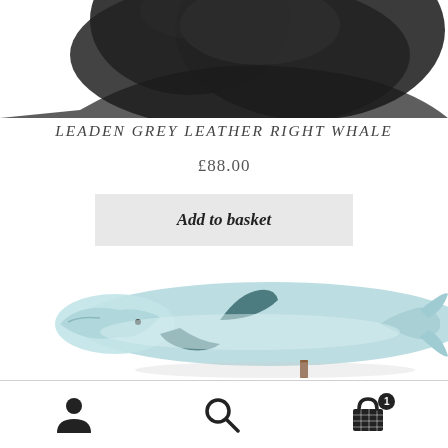[Figure (photo): Partial top view of a dark grey/black leather whale sculpture or product, cropped at the bottom of the visible area]
LEADEN GREY LEATHER RIGHT WHALE
£88.00
Add to basket
[Figure (photo): A light blue leather whale sculpture (humpback or blue whale shape) displayed on a white background, shown in profile facing left, with dark fin details and a small wooden stand]
Navigation bar with account icon, search icon, and shopping basket icon with badge showing 1 item